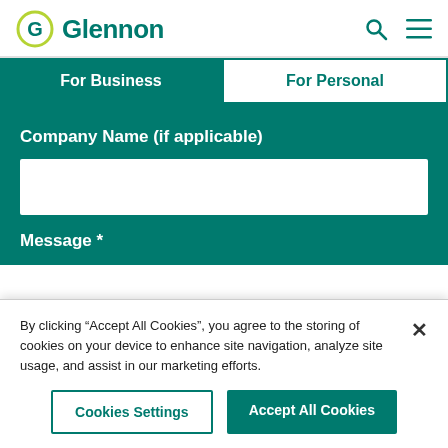[Figure (logo): Glennon logo with green circular G icon and 'Glennon' text in green]
For Business
For Personal
Company Name (if applicable)
Message *
By clicking “Accept All Cookies”, you agree to the storing of cookies on your device to enhance site navigation, analyze site usage, and assist in our marketing efforts.
Cookies Settings
Accept All Cookies